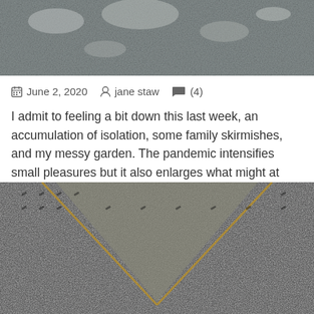[Figure (photo): Close-up photo of a rough stone or granite surface with lichen, grey and white tones]
June 2, 2020  jane staw  (4)
I admit to feeling a bit down this last week, an accumulation of isolation, some family skirmishes, and my messy garden. The pandemic intensifies small pleasures but it also enlarges what might at other times have been small piques. Hoping for a bit of mood …
[Figure (photo): Close-up photo of diamond-plate metal grating with a V-shaped pattern, surrounded by rough grey surface]